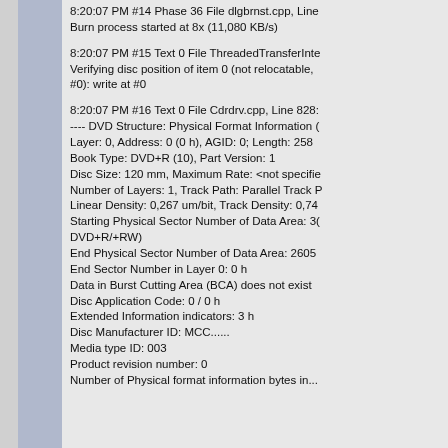8:20:07 PM #14 Phase 36 File dlgbrnst.cpp, Line...
Burn process started at 8x (11,080 KB/s)
8:20:07 PM #15 Text 0 File ThreadedTransferInte...
Verifying disc position of item 0 (not relocatable,
#0): write at #0
8:20:07 PM #16 Text 0 File Cdrdrv.cpp, Line 828:
---- DVD Structure: Physical Format Information (
Layer: 0, Address: 0 (0 h), AGID: 0; Length: 258
Book Type: DVD+R (10), Part Version: 1
Disc Size: 120 mm, Maximum Rate: <not specifie...
Number of Layers: 1, Track Path: Parallel Track P...
Linear Density: 0,267 um/bit, Track Density: 0,74...
Starting Physical Sector Number of Data Area: 30...
DVD+R/+RW)
End Physical Sector Number of Data Area: 2605...
End Sector Number in Layer 0: 0 h
Data in Burst Cutting Area (BCA) does not exist
Disc Application Code: 0 / 0 h
Extended Information indicators: 3 h
Disc Manufacturer ID: MCC......
Media type ID: 003
Product revision number: 0
Number of Physical format information bytes in...